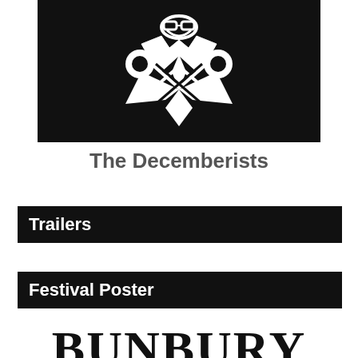[Figure (logo): Black and white logo of The Decemberists — a stylized figure wearing a coat with an hourglass motif, diamond/lozenge shapes, and a bearded face with glasses, on a black background]
The Decemberists
Trailers
Festival Poster
BUNBURY